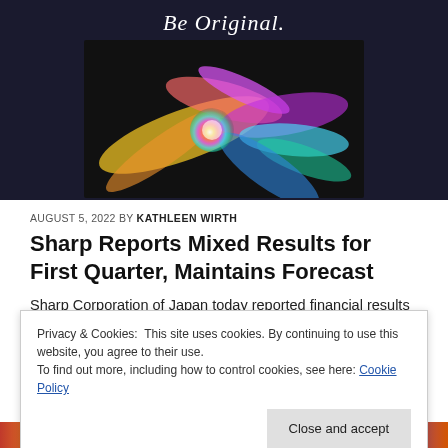[Figure (photo): Dark background hero image with 'Be Original.' italic text and a colorful powder explosion photo inset below]
AUGUST 5, 2022 BY KATHLEEN WIRTH
Sharp Reports Mixed Results for First Quarter, Maintains Forecast
Sharp Corporation of Japan today reported financial results for its first quarter ending June 30, 2022. Net revenue...
Privacy & Cookies: This site uses cookies. By continuing to use this website, you agree to their use.
To find out more, including how to control cookies, see here: Cookie Policy